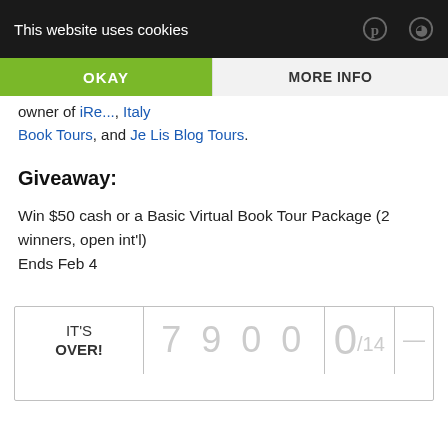This website uses cookies
owner of iRe..., Italy Book Tours, and Je Lis Blog Tours.
Giveaway:
Win $50 cash or a Basic Virtual Book Tour Package (2 winners, open int'l)
Ends Feb 4
| IT'S OVER! | 7900 | 0/14 | — |
| --- | --- | --- | --- |
|  |  |  |  |